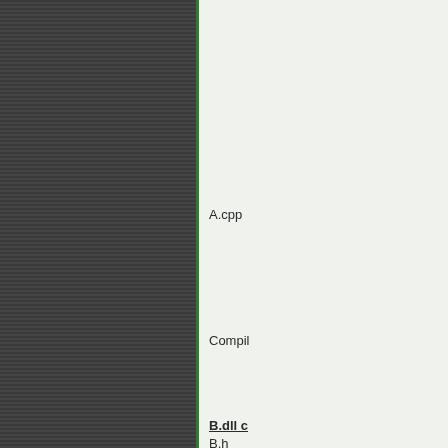[Figure (other): Dark grey horizontally striped left panel with green right border, representing a sidebar or decorative panel in a software/engineering documentation page]
A.cpp
Compil
B.dll c
B.h